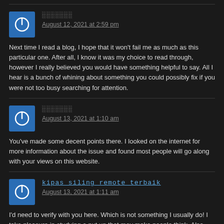[Figure (other): User avatar icon with power symbol on blue background, comment 1]
░░░░░░░
August 12, 2021 at 2:59 pm
Next time I read a blog, I hope that it won't fail me as much as this particular one. After all, I know it was my choice to read through, however I really believed you would have something helpful to say. All I hear is a bunch of whining about something you could possibly fix if you were not too busy searching for attention.
[Figure (other): User avatar icon with power symbol on blue background, comment 2]
░░░░░░░
August 13, 2021 at 1:10 am
You've made some decent points there. I looked on the internet for more information about the issue and found most people will go along with your views on this website.
[Figure (other): User avatar icon with power symbol on blue background, comment 3]
kipas siling remote terbaik
August 13, 2021 at 1:11 am
I'd need to verify with you here. Which is not something I usually do! I take pleasure in studying a put up that may make people think. Also, thanks for allowing me to remark!